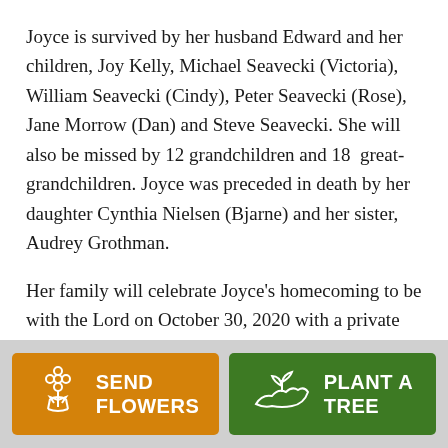Joyce is survived by her husband Edward and her children, Joy Kelly, Michael Seavecki (Victoria), William Seavecki (Cindy), Peter Seavecki (Rose), Jane Morrow (Dan) and Steve Seavecki. She will also be missed by 12 grandchildren and 18  great-grandchildren. Joyce was preceded in death by her daughter Cynthia Nielsen (Bjarne) and her sister, Audrey Grothman.

Her family will celebrate Joyce's homecoming to be with the Lord on October 30, 2020 with a private mass
[Figure (infographic): Two call-to-action buttons at the bottom: orange 'SEND FLOWERS' button with flower bouquet icon, and green 'PLANT A TREE' button with plant/hand icon]